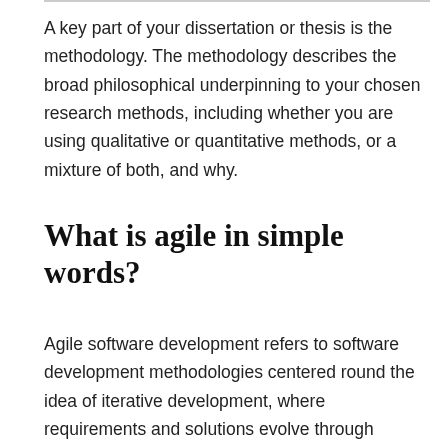A key part of your dissertation or thesis is the methodology. The methodology describes the broad philosophical underpinning to your chosen research methods, including whether you are using qualitative or quantitative methods, or a mixture of both, and why.
What is agile in simple words?
Agile software development refers to software development methodologies centered round the idea of iterative development, where requirements and solutions evolve through collaboration between self-organizing cross-functional teams. Scrum and Kanban are two of